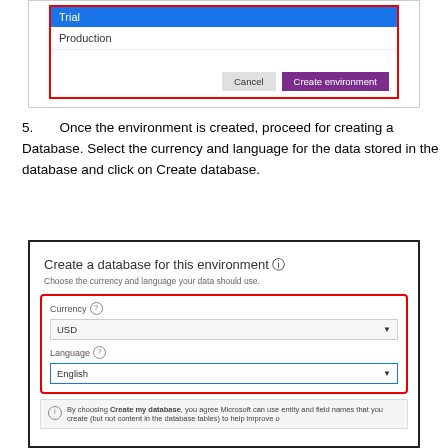[Figure (screenshot): Screenshot of environment type dropdown showing Trial selected (highlighted in blue) and Production option, with Cancel and Create environment buttons at bottom]
5.        Once the environment is created, proceed for creating a Database. Select the currency and language for the data stored in the database and click on Create database.
[Figure (screenshot): Screenshot of 'Create a database for this environment' dialog with Currency (USD) and Language (English) dropdowns highlighted in red box, and a notice about Create my database agreement at the bottom]